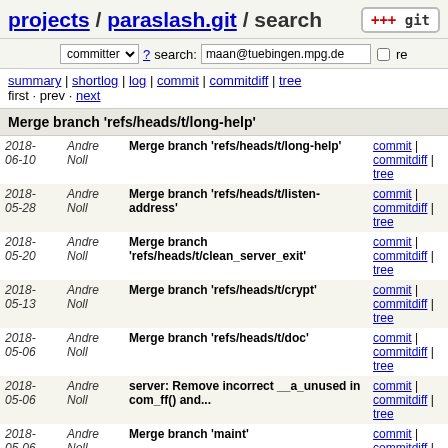projects / paraslash.git / search
committer ? search: maan@tuebingen.mpg.de re
summary | shortlog | log | commit | commitdiff | tree
first · prev · next
Merge branch 'refs/heads/t/long-help'
| Date | Author | Message | Links |
| --- | --- | --- | --- |
| 2018-06-10 | Andre Noll | Merge branch 'refs/heads/t/long-help' | commit | commitdiff | tree |
| 2018-05-28 | Andre Noll | Merge branch 'refs/heads/t/listen-address' | commit | commitdiff | tree |
| 2018-05-20 | Andre Noll | Merge branch 'refs/heads/t/clean_server_exit' | commit | commitdiff | tree |
| 2018-05-13 | Andre Noll | Merge branch 'refs/heads/t/crypt' | commit | commitdiff | tree |
| 2018-05-06 | Andre Noll | Merge branch 'refs/heads/t/doc' | commit | commitdiff | tree |
| 2018-05-06 | Andre Noll | server: Remove incorrect __a_unused in com_ff() and... | commit | commitdiff | tree |
| 2018-05-06 | Andre Noll | Merge branch 'maint' | commit | commitdiff | tree |
| 2018-05-01 | Andre Noll | Merge branch 'refs/heads/t/gui-sigwinch' | commit | commitdiff | tree |
| 2018-04-?? | Andre Noll | server: Fix return value of com_ff(). | commit | commitdiff |